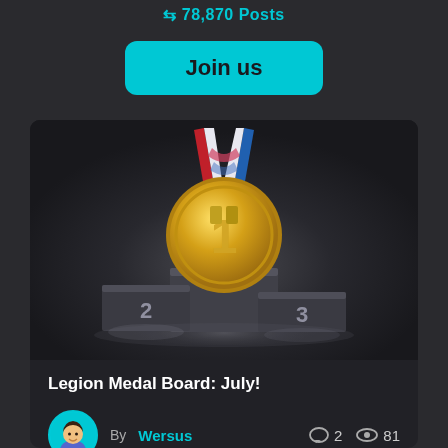78,870 Posts
Join us
[Figure (illustration): A gold medal with the number 1, hanging from a red, white, and blue ribbon, displayed above a dark podium showing positions 1, 2, and 3 with spotlight lighting.]
Legion Medal Board: July!
By Wersus
2 comments, 81 views